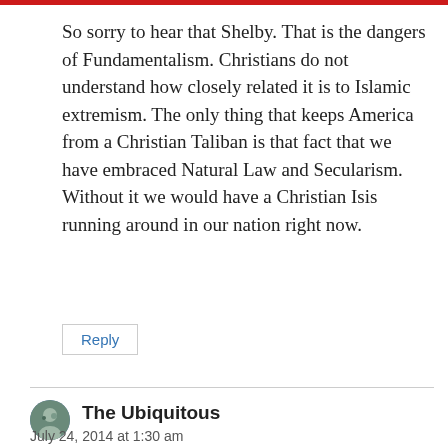So sorry to hear that Shelby. That is the dangers of Fundamentalism. Christians do not understand how closely related it is to Islamic extremism. The only thing that keeps America from a Christian Taliban is that fact that we have embraced Natural Law and Secularism. Without it we would have a Christian Isis running around in our nation right now.
Reply
The Ubiquitous
July 24, 2014 at 1:30 am